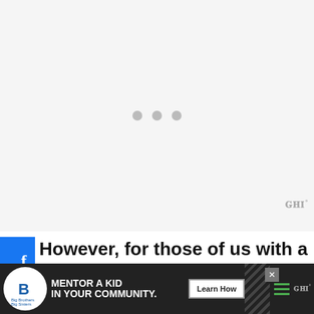[Figure (other): Large white/light gray placeholder area with three gray loading dots in the center, indicating an image or video not yet loaded.]
[Figure (other): Social share sidebar with three buttons: Facebook (f icon, blue), Twitter (bird icon, blue), Pinterest (P icon with count '1', blue).]
However, for those of us with a lot of white hairs, this changes since the white hairs become more visible as the hair grows out.
[Figure (other): Advertisement banner for Big Brothers Big Sisters of America. Shows logo, text 'MENTOR A KID IN YOUR COMMUNITY.' with a 'Learn How' button, diagonal stripe pattern, green hamburger menu lines, close button, and Mediavine logo.]